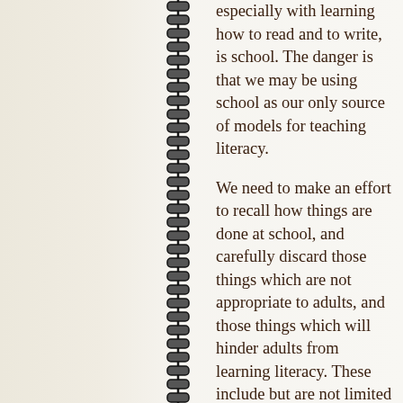...especially with learning how to read and to write, is school. The danger is that we may be using school as our only source of models for teaching literacy.

We need to make an effort to recall how things are done at school, and carefully discard those things which are not appropriate to adults, and those things which will hinder adults from learning literacy. These include but are not limited to: insisting upon disciplined...